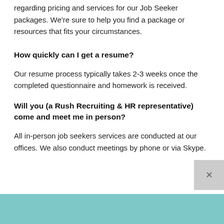regarding pricing and services for our Job Seeker packages. We're sure to help you find a package or resources that fits your circumstances.
How quickly can I get a resume?
Our resume process typically takes 2-3 weeks once the completed questionnaire and homework is received.
Will you (a Rush Recruiting & HR representative) come and meet me in person?
All in-person job seekers services are conducted at our offices. We also conduct meetings by phone or via Skype.